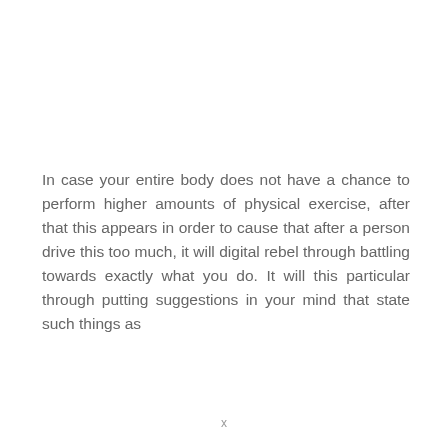In case your entire body does not have a chance to perform higher amounts of physical exercise, after that this appears in order to cause that after a person drive this too much, it will digital rebel through battling towards exactly what you do. It will this particular through putting suggestions in your mind that state such things as
x